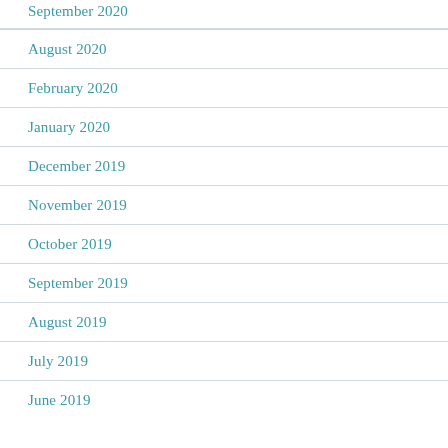September 2020
August 2020
February 2020
January 2020
December 2019
November 2019
October 2019
September 2019
August 2019
July 2019
June 2019